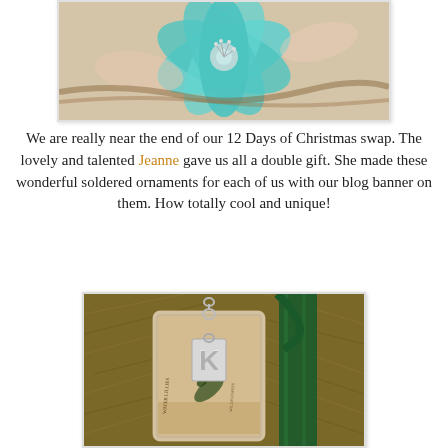[Figure (photo): Close-up photo of teal/turquoise fabric flower decoration against a light background]
We are really near the end of our 12 Days of Christmas swap. The lovely and talented Jeanne gave us all a double gift. She made these wonderful soldered ornaments for each of us with our blog banner on them. How totally cool and unique!
[Figure (photo): Photo of a soldered glass ornament with blog banner inside, featuring a letter K charm, hanging on a Christmas tree with a dark green ribbon. Text on ornament reads 'Water Lillies' and 'Wildflowers'.]